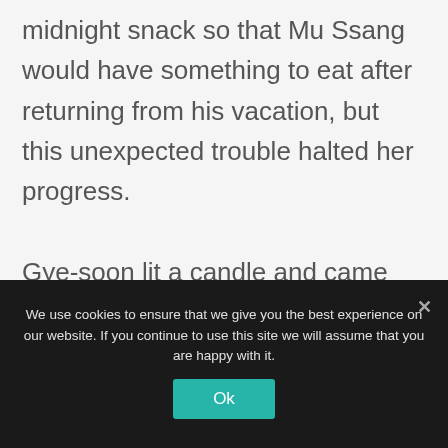midnight snack so that Mu Ssang would have something to eat after returning from his vacation, but this unexpected trouble halted her progress.

Gye-soon lit a candle and came out of her room.

“There wasn’t any notification about a
We use cookies to ensure that we give you the best experience on our website. If you continue to use this site we will assume that you are happy with it.